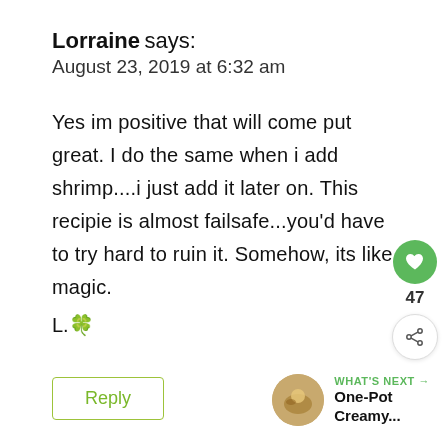Lorraine says:
August 23, 2019 at 6:32 am
Yes im positive that will come put great. I do the same when i add shrimp....i just add it later on. This recipie is almost failsafe...you'd have to try hard to ruin it. Somehow, its like magic.
L.🍀
Reply
47
WHAT'S NEXT → One-Pot Creamy...